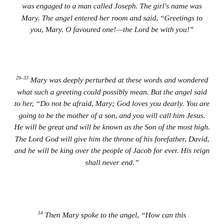was engaged to a man called Joseph. The girl's name was Mary. The angel entered her room and said, “Greetings to you, Mary. O favoured one!—the Lord be with you!”
29–33 Mary was deeply perturbed at these words and wondered what such a greeting could possibly mean. But the angel said to her, “Do not be afraid, Mary; God loves you dearly. You are going to be the mother of a son, and you will call him Jesus. He will be great and will be known as the Son of the most high. The Lord God will give him the throne of his forefather, David, and he will be king over the people of Jacob for ever. His reign shall never end.”
34 Then Mary spoke to the angel, “How can this